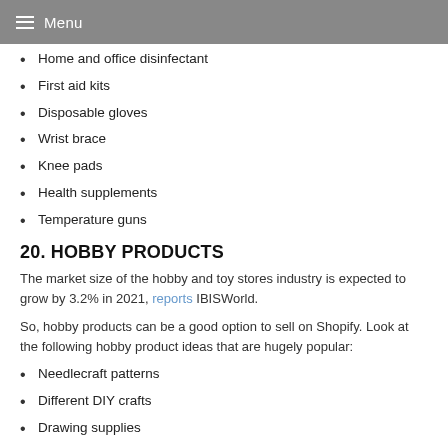Menu
Home and office disinfectant
First aid kits
Disposable gloves
Wrist brace
Knee pads
Health supplements
Temperature guns
20. HOBBY PRODUCTS
The market size of the hobby and toy stores industry is expected to grow by 3.2% in 2021, reports IBISWorld.
So, hobby products can be a good option to sell on Shopify. Look at the following hobby product ideas that are hugely popular:
Needlecraft patterns
Different DIY crafts
Drawing supplies